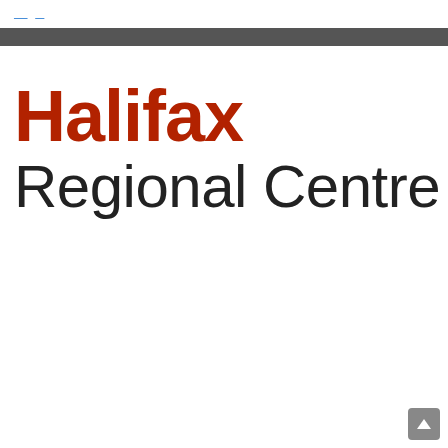Halifax Regional Centre for Education
[Figure (logo): Halifax Regional Centre for Education logo with 'Halifax' in bold red and 'Regional Centre for Edu' in dark sans-serif below]
[Figure (other): Scroll to top button in bottom right corner]